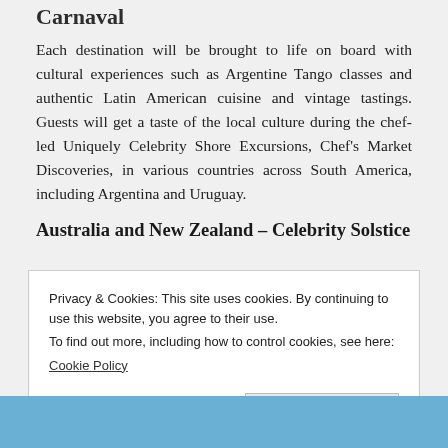Carnaval
Each destination will be brought to life on board with cultural experiences such as Argentine Tango classes and authentic Latin American cuisine and vintage tastings. Guests will get a taste of the local culture during the chef-led Uniquely Celebrity Shore Excursions, Chef's Market Discoveries, in various countries across South America, including Argentina and Uruguay.
Australia and New Zealand – Celebrity Solstice
Privacy & Cookies: This site uses cookies. By continuing to use this website, you agree to their use.
To find out more, including how to control cookies, see here:
Cookie Policy
[Figure (photo): Partial view of a cruise ship in blue water at the bottom of the page]